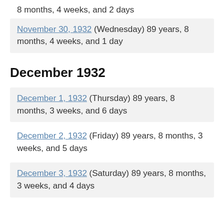8 months, 4 weeks, and 2 days
November 30, 1932 (Wednesday) 89 years, 8 months, 4 weeks, and 1 day
December 1932
December 1, 1932 (Thursday) 89 years, 8 months, 3 weeks, and 6 days
December 2, 1932 (Friday) 89 years, 8 months, 3 weeks, and 5 days
December 3, 1932 (Saturday) 89 years, 8 months, 3 weeks, and 4 days